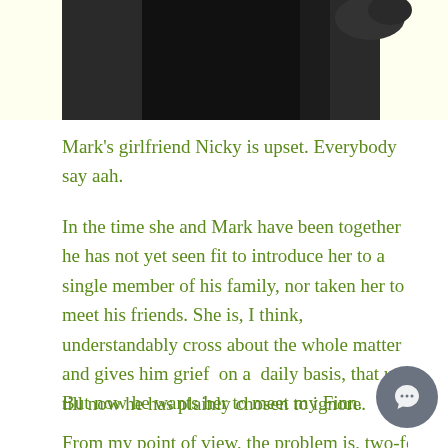[Figure (photo): Partial photo of a person in dark clothing against a light yellow background, cropped to show lower body/torso area]
Mark's girlfriend Nicky is upset. Everybody say aah.
In the time she and Mark have been together he has not yet seen fit to introduce her to a single member of his family, nor taken her to meet his friends. She is, I think, understandably cross about the whole matter and gives him grief  on a  daily basis, that up till now he has plainly chosen to ignore.
But now he wants her to meet my Finn.  My little
From my point of view, the problem is, two-fold; on